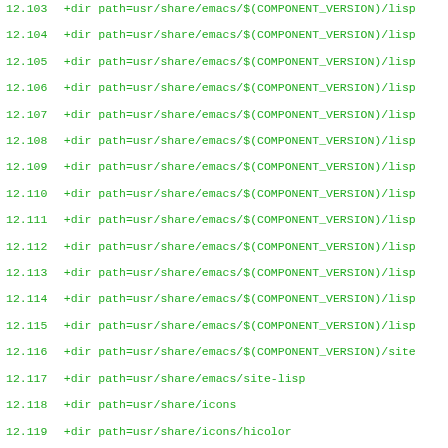12.103  +dir path=usr/share/emacs/$(COMPONENT_VERSION)/lisp
12.104  +dir path=usr/share/emacs/$(COMPONENT_VERSION)/lisp
12.105  +dir path=usr/share/emacs/$(COMPONENT_VERSION)/lisp
12.106  +dir path=usr/share/emacs/$(COMPONENT_VERSION)/lisp
12.107  +dir path=usr/share/emacs/$(COMPONENT_VERSION)/lisp
12.108  +dir path=usr/share/emacs/$(COMPONENT_VERSION)/lisp
12.109  +dir path=usr/share/emacs/$(COMPONENT_VERSION)/lisp
12.110  +dir path=usr/share/emacs/$(COMPONENT_VERSION)/lisp
12.111  +dir path=usr/share/emacs/$(COMPONENT_VERSION)/lisp
12.112  +dir path=usr/share/emacs/$(COMPONENT_VERSION)/lisp
12.113  +dir path=usr/share/emacs/$(COMPONENT_VERSION)/lisp
12.114  +dir path=usr/share/emacs/$(COMPONENT_VERSION)/lisp
12.115  +dir path=usr/share/emacs/$(COMPONENT_VERSION)/lisp
12.116  +dir path=usr/share/emacs/$(COMPONENT_VERSION)/site
12.117  +dir path=usr/share/emacs/site-lisp
12.118  +dir path=usr/share/icons
12.119  +dir path=usr/share/icons/hicolor
12.120  +dir path=usr/share/icons/hicolor/128x128
12.121  +dir path=usr/share/icons/hicolor/128x128/apps
12.122  +dir path=usr/share/icons/hicolor/16x16
12.123  +dir path=usr/share/icons/hicolor/16x16/apps
12.124  +dir path=usr/share/icons/hicolor/24x24
12.125  +dir path=usr/share/icons/hicolor/24x24/apps
12.126  +dir path=usr/share/icons/hicolor/32x32
12.127  +dir path=usr/share/icons/hicolor/32x32/apps
12.128  +dir path=usr/share/icons/hicolor/48x48
12.129  +dir path=usr/share/icons/hicolor/48x48/apps
12.130  +dir path=usr/share/icons/hicolor/scalable
12.131  +dir path=usr/share/icons/hicolor/scalable/apps
12.132  +dir path=usr/share/icons/hicolor/scalable/mimetypes
12.133  +dir path=usr/share/info
12.134  +dir path=usr/share/man
12.135  +dir path=usr/share/man/man1